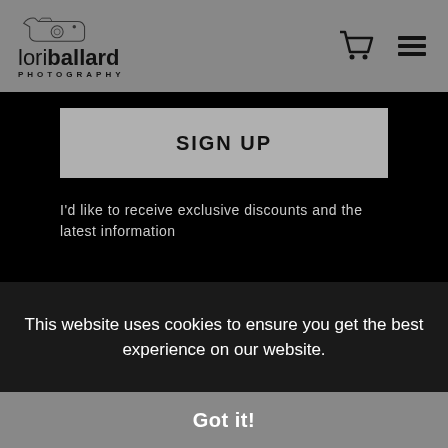lori ballard PHOTOGRAPHY
SIGN UP
I'd like to receive exclusive discounts and the latest information
[Figure (logo): Art Storefronts icon — a house/shop outline with a landscape image inside]
Proud Member of Art Storefronts
This website uses cookies to ensure you get the best experience on our website.
Got it!